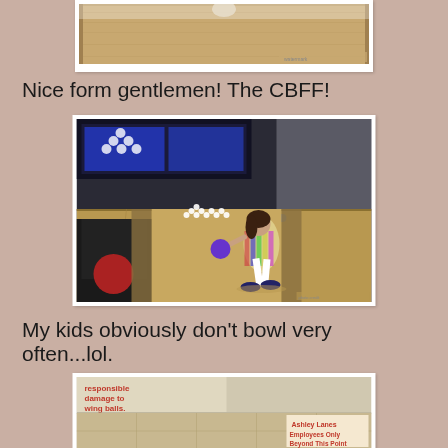[Figure (photo): Top partial photo of a bowling lane floor (wooden lane surface), partially cropped at the top of the page]
Nice form gentlemen! The CBFF!
[Figure (photo): Photo of a young girl in a colorful striped dress bowling at a bowling alley lane, about to release the ball. Bowling pins visible in the background, lane scoring monitor above.]
My kids obviously don't bowl very often...lol.
[Figure (photo): Partial photo of a bowling alley sign. Red text reads 'responsible damage to wing balls.' An Ashley Lanes sign with 'Employees Only Beyond This Point' is visible in the lower right.]